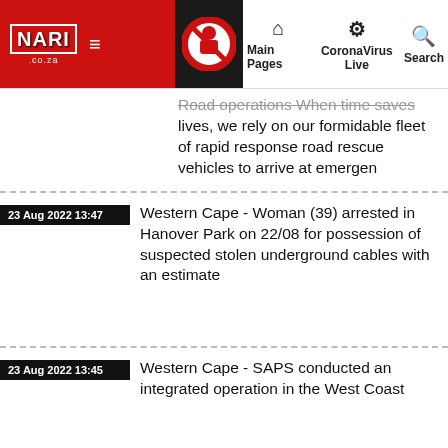NARI.co.za | Main Pages | CoronaVirus Live | Search
Road operations When time saves lives, we rely on our formidable fleet of rapid response road rescue vehicles to arrive at emergen
23 Aug 2022 13:47 | Western Cape - Woman (39) arrested in Hanover Park on 22/08 for possession of suspected stolen underground cables with an estimate
23 Aug 2022 13:45 | Western Cape - SAPS conducted an integrated operation in the West Coast